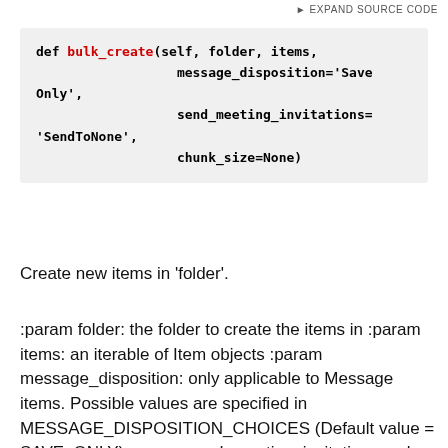EXPAND SOURCE CODE
Create new items in 'folder'.
:param folder: the folder to create the items in :param items: an iterable of Item objects :param message_disposition: only applicable to Message items. Possible values are specified in MESSAGE_DISPOSITION_CHOICES (Default value = SAVE_ONLY) :param send_meeting_invitations: only